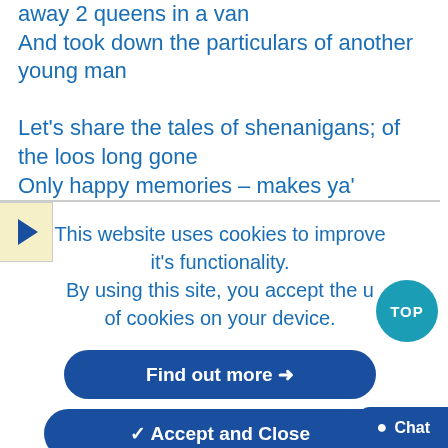away 2 queens in a van
And took down the particulars of another young man
Let's share the tales of shenanigans; of the loos long gone
Only happy memories – makes ya' wonder why was it so wrong?
This website uses cookies to improve it's functionality.
By using this site, you accept the use of cookies on your device.
Find out more →
✓ Accept and Close
TOP
● Chat